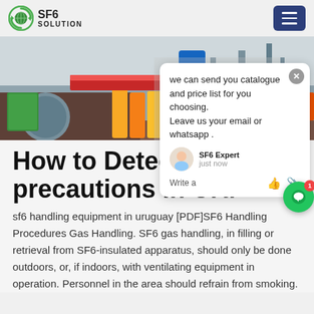SF6 SOLUTION
[Figure (photo): Worker in blue overalls at an industrial SF6 equipment site; yellow gas cylinders, red safety equipment visible in the foreground.]
How to Detect sf6 precautions in Uruguay
sf6 handling equipment in uruguay [PDF]SF6 Handling Procedures Gas Handling. SF6 gas handling, in filling or retrieval from SF6-insulated apparatus, should only be done outdoors, or, if indoors, with ventilating equipment in operation. Personnel in the area should refrain from smoking.